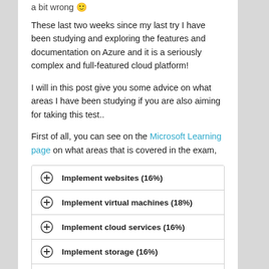a bit wrong 🙂
These last two weeks since my last try I have been studying and exploring the features and documentation on Azure and it is a seriously complex and full-featured cloud platform!
I will in this post give you some advice on what areas I have been studying if you are also aiming for taking this test..
First of all, you can see on the Microsoft Learning page on what areas that is covered in the exam,
Implement websites (16%)
Implement virtual machines (18%)
Implement cloud services (16%)
Implement storage (16%)
Implement an Azure Active Directory (16%)
Implement virtual networks (17%)